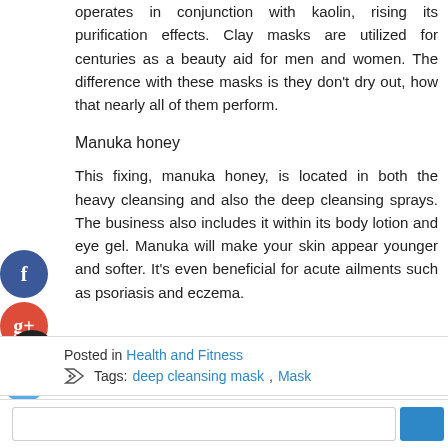operates in conjunction with kaolin, rising its purification effects. Clay masks are utilized for centuries as a beauty aid for men and women. The difference with these masks is they don't dry out, how that nearly all of them perform.
Manuka honey
This fixing, manuka honey, is located in both the heavy cleansing and also the deep cleansing sprays. The business also includes it within its body lotion and eye gel. Manuka will make your skin appear younger and softer. It's even beneficial for acute ailments such as psoriasis and eczema.
Posted in Health and Fitness
Tags: deep cleansing mask, Mask